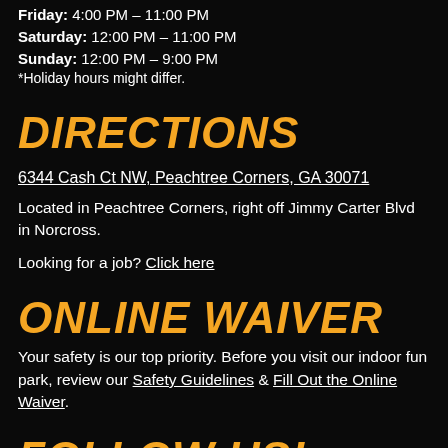Friday: 4:00 PM – 11:00 PM
Saturday: 12:00 PM – 11:00 PM
Sunday: 12:00 PM – 9:00 PM
*Holiday hours might differ.
DIRECTIONS
6344 Cash Ct NW, Peachtree Corners, GA 30071
Located in Peachtree Corners, right off Jimmy Carter Blvd in Norcross.
Looking for a job? Click here
ONLINE WAIVER
Your safety is our top priority. Before you visit our indoor fun park, review our Safety Guidelines & Fill Out the Online Waiver.
FOLLOW US!